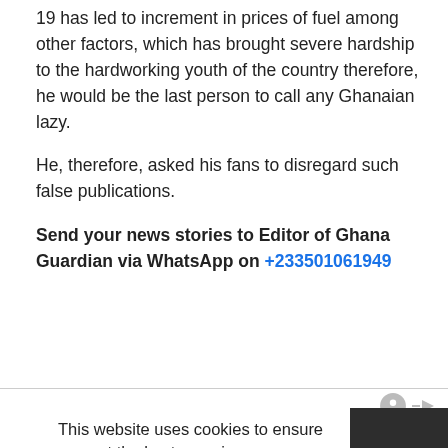19 has led to increment in prices of fuel among other factors, which has brought severe hardship to the hardworking youth of the country therefore, he would be the last person to call any Ghanaian lazy.
He, therefore, asked his fans to disregard such false publications.
Send your news stories to Editor of Ghana Guardian via WhatsApp on +233501061949
This website uses cookies to ensure you get the best experience on our website.
Learn more
Got it!